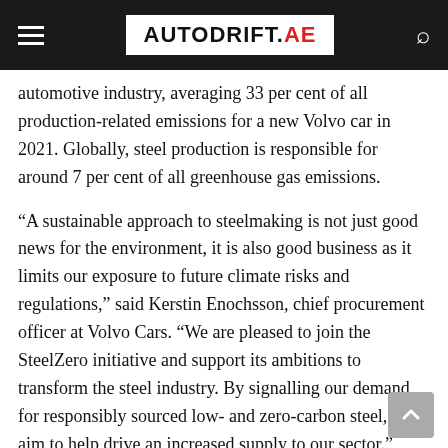AUTODRIFT.AE
automotive industry, averaging 33 per cent of all production-related emissions for a new Volvo car in 2021. Globally, steel production is responsible for around 7 per cent of all greenhouse gas emissions.
“A sustainable approach to steelmaking is not just good news for the environment, it is also good business as it limits our exposure to future climate risks and regulations,” said Kerstin Enochsson, chief procurement officer at Volvo Cars. “We are pleased to join the SteelZero initiative and support its ambitions to transform the steel industry. By signalling our demand for responsibly sourced low- and zero-carbon steel, we aim to help drive an increased supply to our sector.”
Jen Carson, head of industry at Climate Group, said: “Volvo